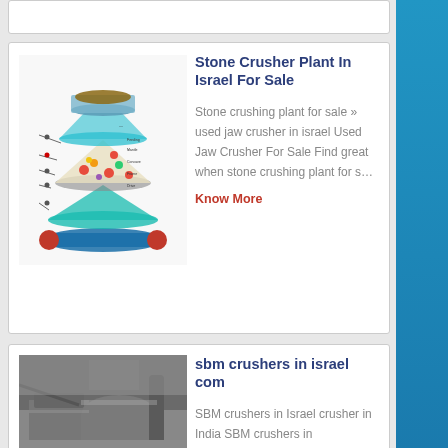[Figure (photo): Stone crusher plant diagram - exploded view of cone crusher with colored components and labels]
Stone Crusher Plant In Israel For Sale
Stone crushing plant for sale » used jaw crusher in israel Used Jaw Crusher For Sale Find great when stone crushing plant for s…
Know More
[Figure (photo): Industrial SBM crusher machine - grey metal machinery in industrial setting]
sbm crushers in israel com
SBM crushers in Israel crusher in India SBM crushers in Israelcrusher machine Crusher machine